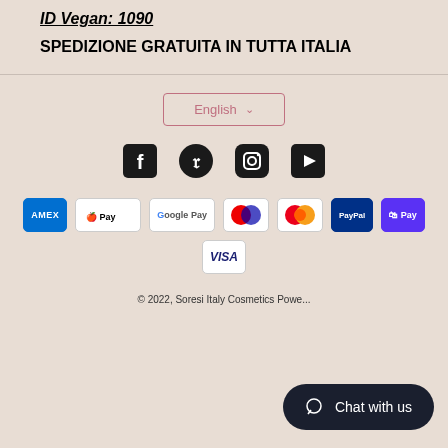ID Vegan: 1090
SPEDIZIONE GRATUITA IN TUTTA ITALIA
[Figure (screenshot): Language selector button showing 'English' with dropdown chevron, pink border]
[Figure (infographic): Social media icons: Facebook, Pinterest, Instagram, YouTube]
[Figure (infographic): Payment method badges: AMEX, Apple Pay, Google Pay, Maestro, Mastercard, PayPal, Shop Pay, VISA]
© 2022, Soresi Italy Cosmetics Powered by ...
Chat with us